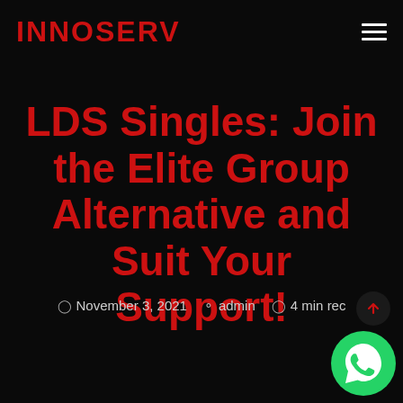INNOSERV
LDS Singles: Join the Elite Group Alternative and Suit Your Support!
November 3, 2021  admin  4 min rec